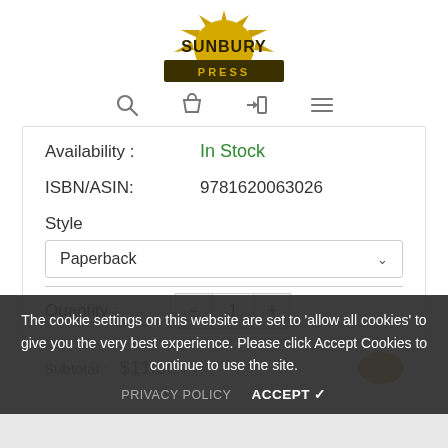[Figure (logo): Sunbury Press logo with sun graphic above text 'SUNBURY PRESS' in bold]
[Figure (other): Navigation icons: search (magnifying glass), cart (bag), login (arrow), menu (hamburger)]
Availability : In Stock
ISBN/ASIN: 9781620063026
Style
Paperback
Quantity :
The cookie settings on this website are set to 'allow all cookies' to give you the very best experience. Please click Accept Cookies to continue to use the site.
PRIVACY POLICY   ACCEPT ✓